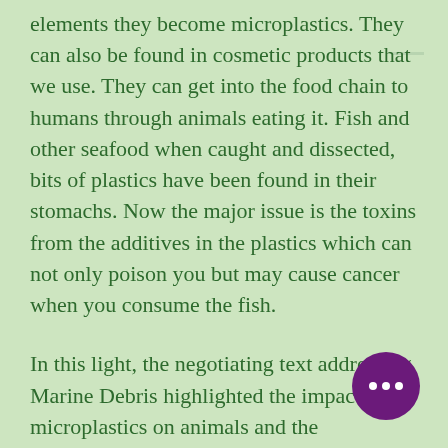elements they become microplastics. They can also be found in cosmetic products that we use. They can get into the food chain to humans through animals eating it. Fish and other seafood when caught and dissected, bits of plastics have been found in their stomachs. Now the major issue is the toxins from the additives in the plastics which can not only poison you but may cause cancer when you consume the fish.

In this light, the negotiating text addressing Marine Debris highlighted the impacts of microplastics on animals and the environment but not the effects on human health. That is why today I got the chance to deliver an